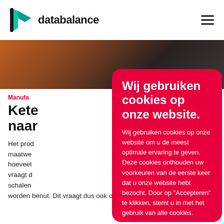[Figure (logo): Databalance logo with teal/green arrow icon and bold text 'databalance']
Manufa...
Kete... naar...
Het prod... maatwe... hoeveel... vraagt d... schalen... worden benut. Dit vraagt dus ook om een
Wij gebruiken cookies op onze website.
Wij gebruiken cookies op onze website om u de meest optimale ervaring te geven. Deze cookies onthouden uw voorkeuren van de eerste keer dat u onze website hebt bezocht. Door op "Accepteren" te klikken, stemt u in met het gebruik van alle cookies.
Cookie instellingen
Accepteren